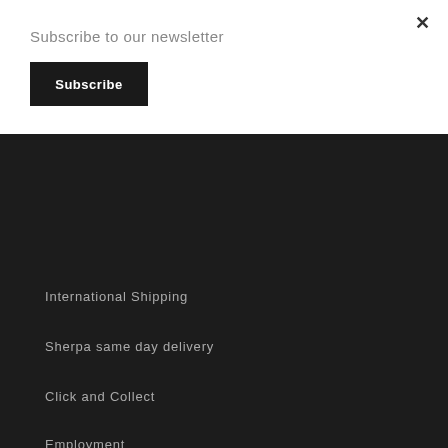Subscribe to our newsletter
Subscribe
×
International Shipping
Sherpa same day delivery
Click and Collect
Employment
Pleasure Chest Discount Codes
Chat with us